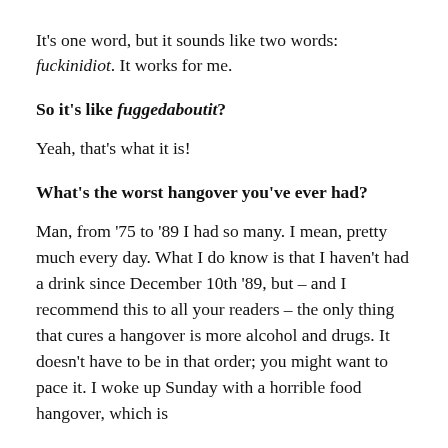It's one word, but it sounds like two words: fuckinidiot. It works for me.
So it's like fuggedaboutit?
Yeah, that's what it is!
What's the worst hangover you've ever had?
Man, from ‘75 to ’89 I had so many. I mean, pretty much every day. What I do know is that I haven't had a drink since December 10th ’89, but – and I recommend this to all your readers – the only thing that cures a hangover is more alcohol and drugs. It doesn't have to be in that order; you might want to pace it. I woke up Sunday with a horrible food hangover, which is